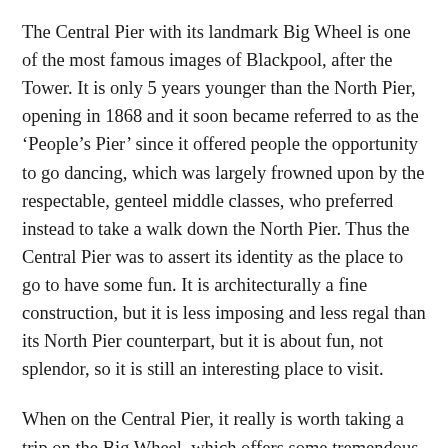The Central Pier with its landmark Big Wheel is one of the most famous images of Blackpool, after the Tower. It is only 5 years younger than the North Pier, opening in 1868 and it soon became referred to as the ‘People’s Pier’ since it offered people the opportunity to go dancing, which was largely frowned upon by the respectable, genteel middle classes, who preferred instead to take a walk down the North Pier. Thus the Central Pier was to assert its identity as the place to go to have some fun. It is architecturally a fine construction, but it is less imposing and less regal than its North Pier counterpart, but it is about fun, not splendor, so it is still an interesting place to visit.
When on the Central Pier, it really is worth taking a trip on the Big Wheel, which offers some tremendous views of the city, with its urban sprawl, but also views of the sea and on a clear day, views over the countryside nearby. Panoramic views are to be had and it is possible to see far out to sea, with its boats